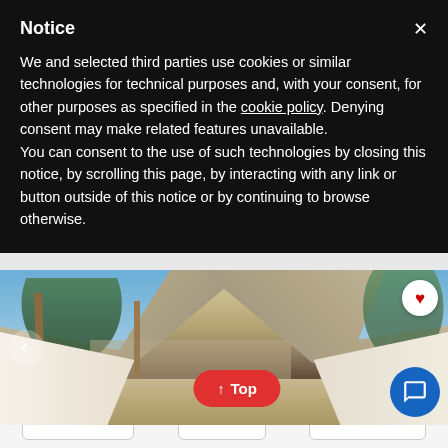Notice
We and selected third parties use cookies or similar technologies for technical purposes and, with your consent, for other purposes as specified in the cookie policy. Denying consent may make related features unavailable.
You can consent to the use of such technologies by closing this notice, by scrolling this page, by interacting with any link or button outside of this notice or by continuing to browse otherwise.
[Figure (photo): Photograph of a glamping tent interior view looking up at beige canvas ceiling with wooden poles, sky visible on the sides with green trees, sandy ground below. UI overlays include a heart/favorite button, back arrow button, a red 'Top' button with up arrow, and a blue chat bubble button.]
FILTERS (with sliders icon)
MAP (with map icon)
SORT BY (with sort icon)